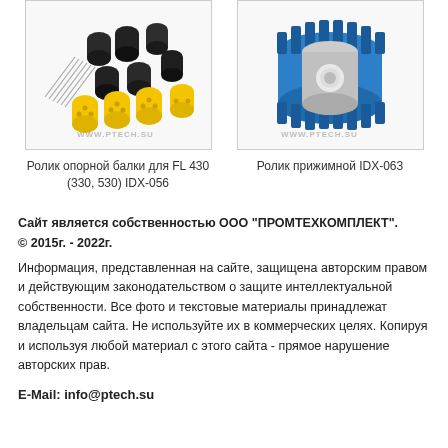[Figure (photo): Product photo: assorted roller parts for support beam FL 430 (330, 530) IDX-056 — black and yellow cylindrical pieces with metal pins on white background, watermark WWW.PTECH.SU]
Ролик опорной балки для FL 430 (330, 530) IDX-056
[Figure (photo): Product photo: blue metal gear/pressing roller IDX-063 with toothed outer ring on white background, watermark WWW.PTECH.SU]
Ролик прижимной IDX-063
Сайт является собственностью ООО "ПРОМТЕХКОМПЛЕКТ". © 2015г. - 2022г. Информация, представленная на сайте, защищена авторским правом и действующим законодательством о защите интеллектуальной собственности. Все фото и текстовые материалы принадлежат владельцам сайта. Не используйте их в коммерческих целях. Копируя и используя любой материал с этого сайта - прямое нарушение авторских прав.
E-Mail: info@ptech.su